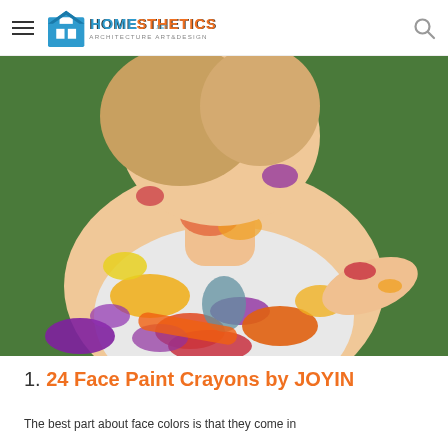Homesthetics – Architecture Art & Design
[Figure (photo): Young child covered in colorful paint splatters on skin and white tank top, with green background]
1. 24 Face Paint Crayons by JOYIN
The best part about face colors is that they come in